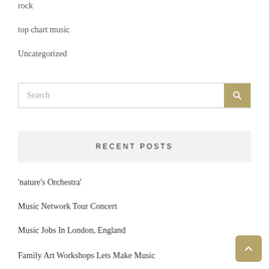rock
top chart music
Uncategorized
[Figure (other): Search bar with text input and gold search button icon]
RECENT POSTS
'nature's Orchestra'
Music Network Tour Concert
Music Jobs In London, England
Family Art Workshops Lets Make Music